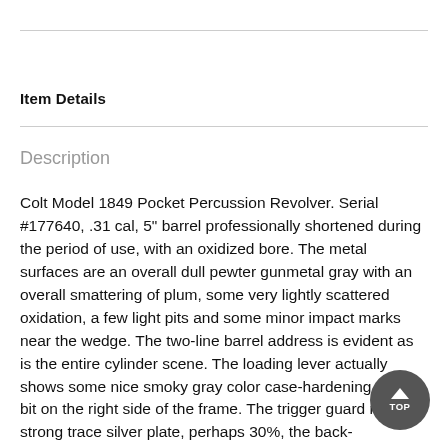Item Details
Description
Colt Model 1849 Pocket Percussion Revolver. Serial #177640, .31 cal, 5" barrel professionally shortened during the period of use, with an oxidized bore. The metal surfaces are an overall dull pewter gunmetal gray with an overall smattering of plum, some very lightly scattered oxidation, a few light pits and some minor impact marks near the wedge. The two-line barrel address is evident as is the entire cylinder scene. The loading lever actually shows some nice smoky gray color case-hardening with a bit on the right side of the frame. The trigger guard retains strong trace silver plate, perhaps 30%, the back-